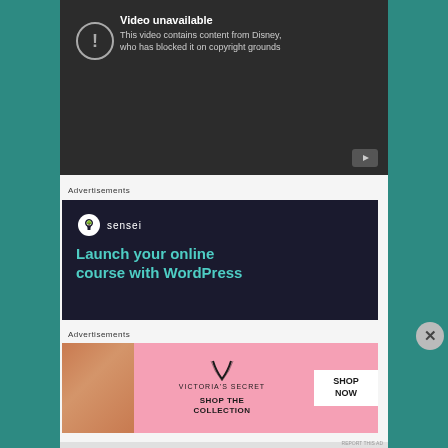[Figure (screenshot): YouTube video unavailable screen showing 'Video unavailable - This video contains content from Disney, who has blocked it on copyright grounds' with YouTube logo icon at bottom right]
Advertisements
[Figure (screenshot): Sensei advertisement: dark navy background with Sensei logo (tree icon in circle) and text 'Launch your online course with WordPress' in teal]
Advertisements
[Figure (screenshot): Victoria's Secret advertisement on pink background showing model, VS logo, 'SHOP THE COLLECTION' text, and 'SHOP NOW' button]